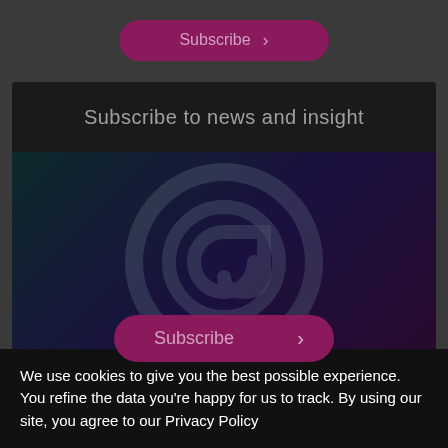[Figure (screenshot): Dark grey top section with a pink/magenta rounded button containing text and a right arrow]
Subscribe to news and insight
[Figure (illustration): Dark teal-to-purple gradient panel with a large faded @ symbol watermark and a pink Subscribe button with right arrow]
We use cookies to give you the best possible experience. You refine the data you're happy for us to track. By using our site, you agree to our Privacy Policy